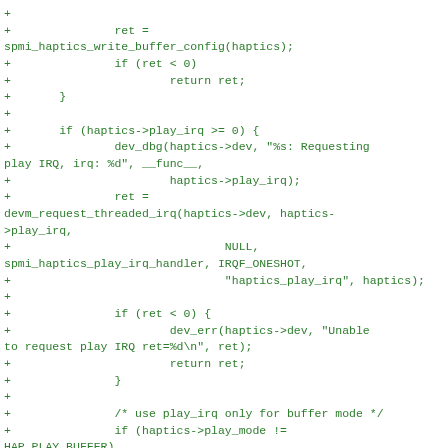Code diff showing Linux kernel driver code for SPMI haptics, including buffer config write, play IRQ request, error handling, and buffer mode check.